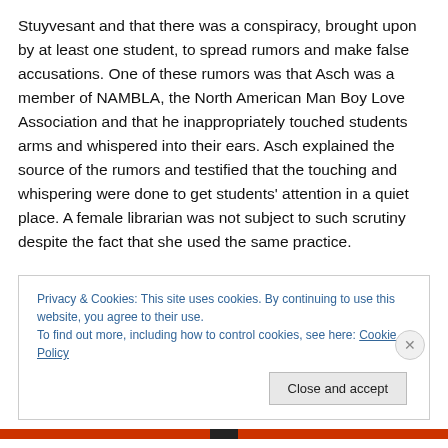Stuyvesant and that there was a conspiracy, brought upon by at least one student, to spread rumors and make false accusations. One of these rumors was that Asch was a member of NAMBLA, the North American Man Boy Love Association and that he inappropriately touched students arms and whispered into their ears. Asch explained the source of the rumors and testified that the touching and whispering were done to get students' attention in a quiet place. A female librarian was not subject to such scrutiny despite the fact that she used the same practice.
Privacy & Cookies: This site uses cookies. By continuing to use this website, you agree to their use.
To find out more, including how to control cookies, see here: Cookie Policy